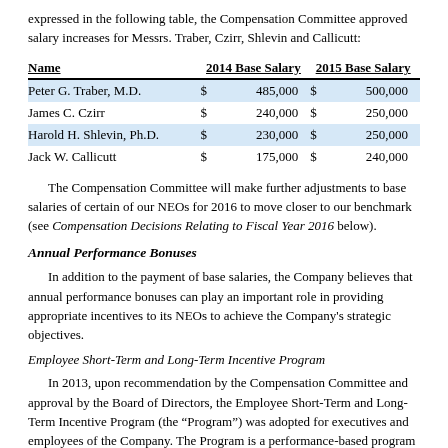expressed in the following table, the Compensation Committee approved salary increases for Messrs. Traber, Czirr, Shlevin and Callicutt:
| Name | 2014 Base Salary |  | 2015 Base Salary |  |
| --- | --- | --- | --- | --- |
| Peter G. Traber, M.D. | $ | 485,000 | $ | 500,000 |
| James C. Czirr | $ | 240,000 | $ | 250,000 |
| Harold H. Shlevin, Ph.D. | $ | 230,000 | $ | 250,000 |
| Jack W. Callicutt | $ | 175,000 | $ | 240,000 |
The Compensation Committee will make further adjustments to base salaries of certain of our NEOs for 2016 to move closer to our benchmark (see Compensation Decisions Relating to Fiscal Year 2016 below).
Annual Performance Bonuses
In addition to the payment of base salaries, the Company believes that annual performance bonuses can play an important role in providing appropriate incentives to its NEOs to achieve the Company’s strategic objectives.
Employee Short-Term and Long-Term Incentive Program
In 2013, upon recommendation by the Compensation Committee and approval by the Board of Directors, the Employee Short-Term and Long-Term Incentive Program (the “Program”) was adopted for executives and employees of the Company. The Program is a performance-based program and was adopted in recognition of the importance of aligning executive and employee interests with that of our stockholders. Our Program is designed to reward the efforts of our executives and employees and to be competitive in attracting and retaining